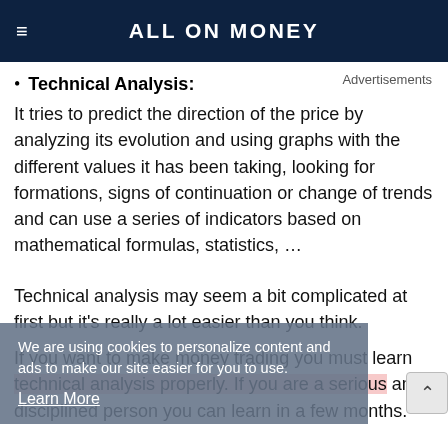ALL ON MONEY
Technical Analysis:
It tries to predict the direction of the price by analyzing its evolution and using graphs with the different values it has been taking, looking for formations, signs of continuation or change of trends and can use a series of indicators based on mathematical formulas, statistics, …
Technical analysis may seem a bit complicated at first but it's really a lot easier than you think.
If you want to make money trading you must learn technical analysis properly. If you are a serious and disciplined person you can learn in a few months.
We are using cookies to personalize content and ads to make our site easier for you to use. Learn More